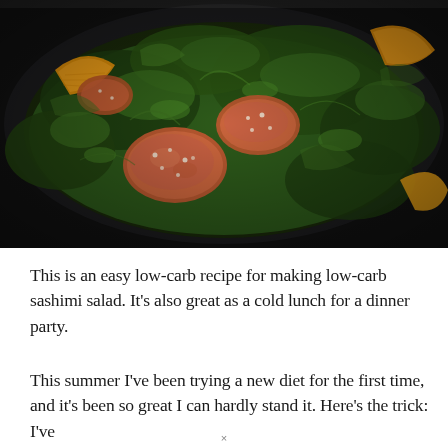[Figure (photo): A dark bowl or pan containing a salad with green watercress or arugula leaves, orange citrus segments, and what appears to be pieces of salmon or sashimi. The image is close-up and lush, with vibrant greens and warm oranges against a dark background.]
This is an easy low-carb recipe for making low-carb sashimi salad. It's also great as a cold lunch for a dinner party.
This summer I've been trying a new diet for the first time, and it's been so great I can hardly stand it. Here's the trick: I've